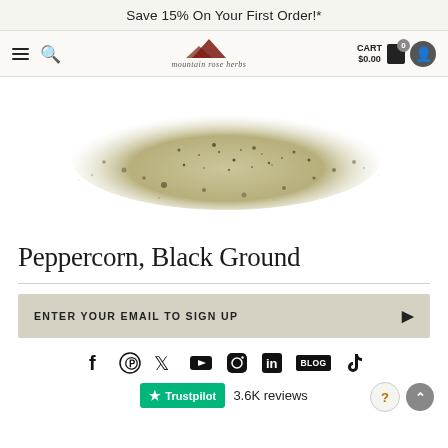Save 15% On Your First Order!*
[Figure (logo): Mountain Rose Herbs logo with mountain graphic and text 'mountain rose herbs']
[Figure (photo): Scattered ground black peppercorn powder/spice viewed from above on white background]
Peppercorn, Black Ground
ENTER YOUR EMAIL TO SIGN UP
[Figure (infographic): Social media icons row: Facebook, Pinterest, Twitter, YouTube, Instagram, LinkedIn, Blog, TikTok]
[Figure (logo): Trustpilot badge with star icon and '3.6K reviews' text]